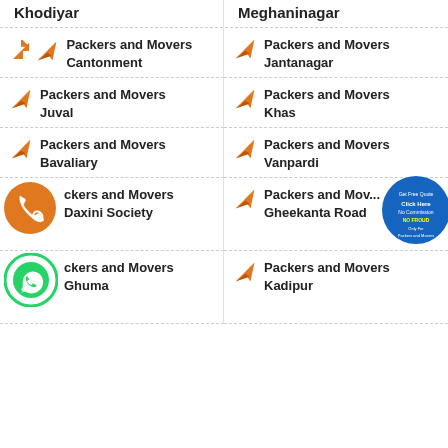Khodiyar
Meghaninagar
Packers and Movers Cantonment
Packers and Movers Jantanagar
Packers and Movers Juval
Packers and Movers Khas
Packers and Movers Bavaliary
Packers and Movers Vanpardi
Packers and Movers Daxini Society
Packers and Movers Gheekanta Road
Packers and Movers Ghuma
Packers and Movers Kadipur